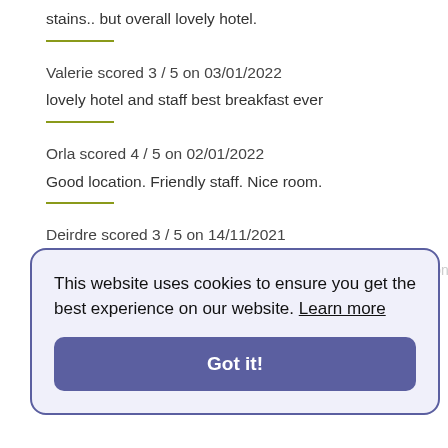stains.. but overall lovely hotel.
Valerie scored 3 / 5 on 03/01/2022
lovely hotel and staff best breakfast ever
Orla scored 4 / 5 on 02/01/2022
Good location. Friendly staff. Nice room.
Deirdre scored 3 / 5 on 14/11/2021
Smalle ss hotel. Friendly helpful staff. Fab breakfast selection. Lovely rooms only downside ...
Michelle scored 3 / 5 on 10/10/2021
Brilliant staff. Lovely comfy bed. Accessible for a mile too possible with a car. It's only a short walk to bus or taxi. Close enough to walk to the city center.
[Figure (screenshot): Cookie consent banner overlay with text: 'This website uses cookies to ensure you get the best experience on our website. Learn more' and a 'Got it!' button]